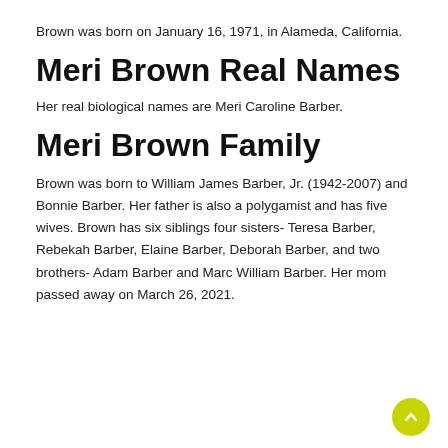Brown was born on January 16, 1971, in Alameda, California.
Meri Brown Real Names
Her real biological names are Meri Caroline Barber.
Meri Brown Family
Brown was born to William James Barber, Jr. (1942-2007) and Bonnie Barber. Her father is also a polygamist and has five wives. Brown has six siblings four sisters- Teresa Barber, Rebekah Barber, Elaine Barber, Deborah Barber, and two brothers- Adam Barber and Marc William Barber. Her mom passed away on March 26, 2021.